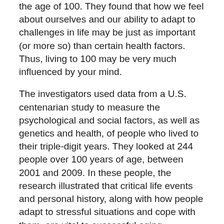the age of 100. They found that how we feel about ourselves and our ability to adapt to challenges in life may be just as important (or more so) than certain health factors. Thus, living to 100 may be very much influenced by your mind.
The investigators used data from a U.S. centenarian study to measure the psychological and social factors, as well as genetics and health, of people who lived to their triple-digit years. They looked at 244 people over 100 years of age, between 2001 and 2009. In these people, the research illustrated that critical life events and personal history, along with how people adapt to stressful situations and cope with them, are vital to successful aging.
As it turns out, your perception of what is happening to you is very important. Researchers found that centenarians' feelings about their own health, well-being and support systems were stronger predictors of